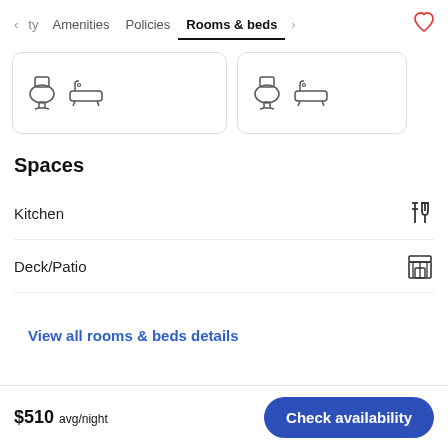< ty   Amenities   Policies   Rooms & beds   >   ♥
[Figure (illustration): Two room cards side by side, each showing toilet and bathtub icons inside rounded border cards]
Spaces
Kitchen
Deck/Patio
View all rooms & beds details
$510 avg/night   Check availability